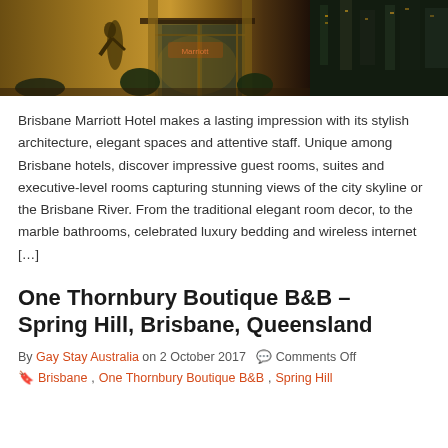[Figure (photo): Exterior night photo of Brisbane Marriott Hotel showing stylish architecture with warm amber lighting, glass entrance, bronze sculpture, and city buildings in background]
Brisbane Marriott Hotel makes a lasting impression with its stylish architecture, elegant spaces and attentive staff. Unique among Brisbane hotels, discover impressive guest rooms, suites and executive-level rooms capturing stunning views of the city skyline or the Brisbane River. From the traditional elegant room decor, to the marble bathrooms, celebrated luxury bedding and wireless internet […]
One Thornbury Boutique B&B – Spring Hill, Brisbane, Queensland
By Gay Stay Australia on 2 October 2017   Comments Off
Brisbane, One Thornbury Boutique B&B, Spring Hill